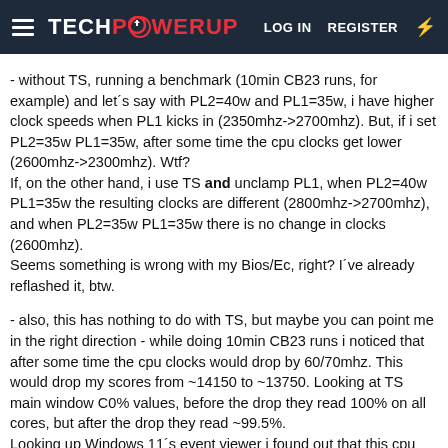TECHPOWERUP  LOG IN  REGISTER
- without TS, running a benchmark (10min CB23 runs, for example) and let´s say with PL2=40w and PL1=35w, i have higher clock speeds when PL1 kicks in (2350mhz->2700mhz). But, if i set PL2=35w PL1=35w, after some time the cpu clocks get lower (2600mhz->2300mhz). Wtf?
If, on the other hand, i use TS and unclamp PL1, when PL2=40w PL1=35w the resulting clocks are different (2800mhz->2700mhz), and when PL2=35w PL1=35w there is no change in clocks (2600mhz).
Seems something is wrong with my Bios/Ec, right? I´ve already reflashed it, btw.
- also, this has nothing to do with TS, but maybe you can point me in the right direction - while doing 10min CB23 runs i noticed that after some time the cpu clocks would drop by 60/70mhz. This would drop my scores from ~14150 to ~13750. Looking at TS main window C0% values, before the drop they read 100% on all cores, but after the drop they read ~99.5%.
Looking up Windows 11´s event viewer i found out that this cpu